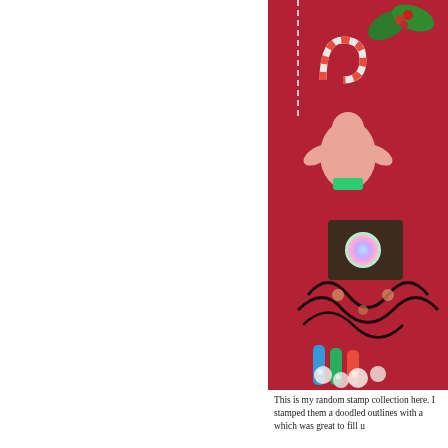[Figure (photo): A close-up photo of a handmade Christmas craft/card showing colorful stamped holiday images including holly leaves with berries, a candy cane, a gingerbread man, and other festive decorations on a red background, with some dimensional embellishments and glitter elements visible.]
This is my random stamp collection here. I stamped them a doodled outlines with a which was great to fill u